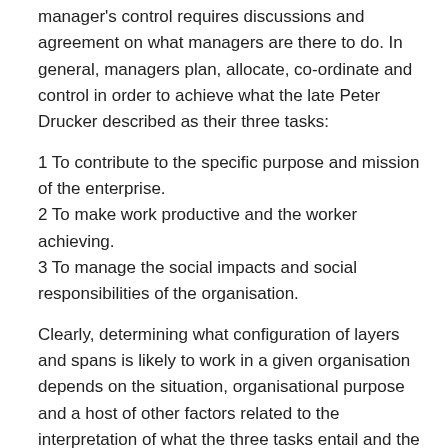manager's control requires discussions and agreement on what managers are there to do. In general, managers plan, allocate, co-ordinate and control in order to achieve what the late Peter Drucker described as their three tasks:
1 To contribute to the specific purpose and mission of the enterprise.
2 To make work productive and the worker achieving.
3 To manage the social impacts and social responsibilities of the organisation.
Clearly, determining what configuration of layers and spans is likely to work in a given organisation depends on the situation, organisational purpose and a host of other factors related to the interpretation of what the three tasks entail and the weighting given to each of them.